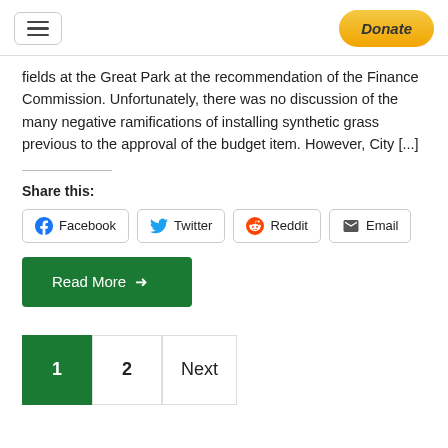Donate
fields at the Great Park at the recommendation of the Finance Commission. Unfortunately, there was no discussion of the many negative ramifications of installing synthetic grass previous to the approval of the budget item. However, City [...]
Share this:
Facebook  Twitter  Reddit  Email
Read More →
1  2  Next